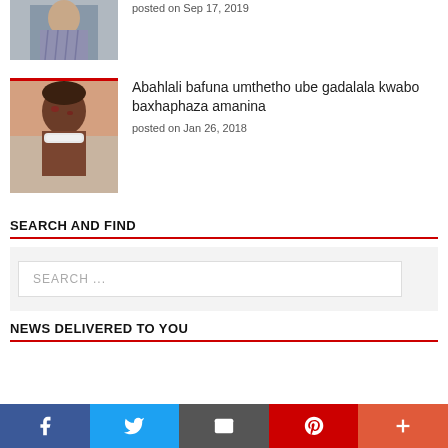[Figure (photo): Partial view of top article thumbnail - person reading]
posted on Sep 17, 2019
[Figure (photo): Photo of a person with injuries, wearing a white bandage around neck]
Abahlali bafuna umthetho ube gadalala kwabo baxhaphaza amanina
posted on Jan 26, 2018
SEARCH AND FIND
SEARCH ...
NEWS DELIVERED TO YOU